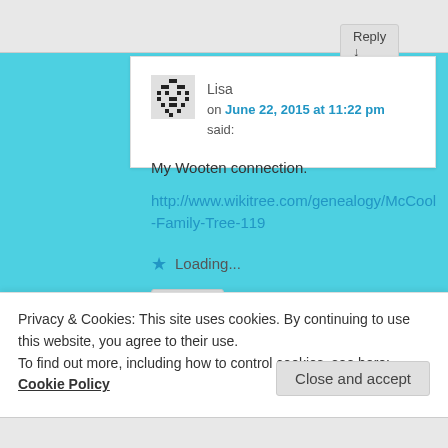Reply ↓
Lisa on June 22, 2015 at 11:22 pm said:
My Wooten connection.
http://www.wikitree.com/genealogy/McCool-Family-Tree-119
★ Loading...
Reply ↓
Privacy & Cookies: This site uses cookies. By continuing to use this website, you agree to their use.
To find out more, including how to control cookies, see here: Cookie Policy
Close and accept